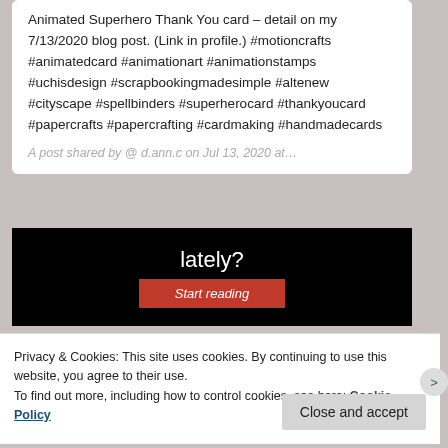Animated Superhero Thank You card – detail on my 7/13/2020 blog post. (Link in profile.) #motioncrafts #animatedcard #animationart #animationstamps #uchisdesign #scrapbookingmadesimple #altenew #cityscape #spellbinders #superherocard #thankyoucard #papercrafts #papercrafting #cardmaking #handmadecards
A post shared by @ d.ann.c on Jul 13, 2020 at…
[Figure (other): Black promotional banner with white text 'lately?' and a red 'Start reading' button]
Privacy & Cookies: This site uses cookies. By continuing to use this website, you agree to their use.
To find out more, including how to control cookies, see here: Cookie Policy
Close and accept